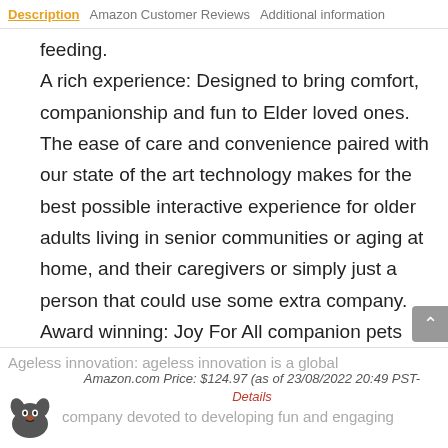Description  Amazon Customer Reviews  Additional information
feeding.
A rich experience: Designed to bring comfort, companionship and fun to Elder loved ones. The ease of care and convenience paired with our state of the art technology makes for the best possible interactive experience for older adults living in senior communities or aging at home, and their caregivers or simply just a person that could use some extra company.
Award winning: Joy For All companion pets won the caregiver friendly award from today's caregiver two years in 2016 and 2017. This product has appeared in the new York times, people magazine and the Baltimore sun. It has also been seen on CBS and the doctors and heard on BBC radio.
Ageless innovation: ageless innovation is a global company devoted to developing fun and engaging
Amazon.com Price: $124.97 (as of 23/08/2022 20:49 PST- Details)